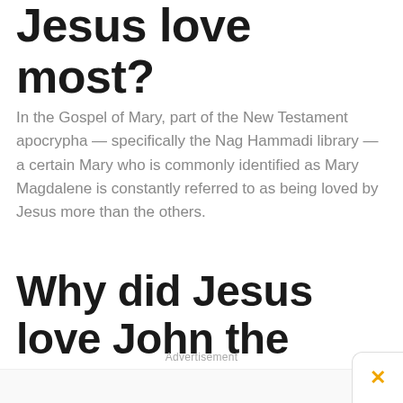Jesus love most?
In the Gospel of Mary, part of the New Testament apocrypha — specifically the Nag Hammadi library — a certain Mary who is commonly identified as Mary Magdalene is constantly referred to as being loved by Jesus more than the others.
Why did Jesus love John the most?
Advertisement